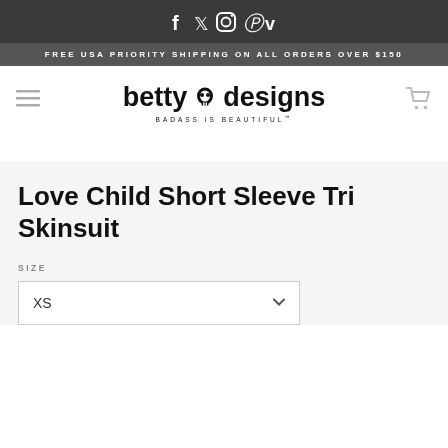Social icons: f  t  instagram  pinterest  v
FREE USA PRIORITY SHIPPING ON ALL ORDERS OVER $150
betty designs — BADASS IS BEAUTIFUL
Love Child Short Sleeve Tri Skinsuit
SIZE
XS